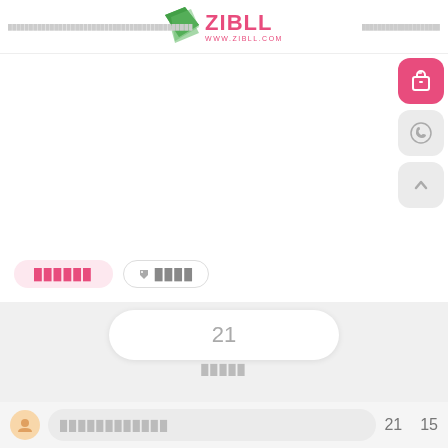ZIBLL WWW.ZIBLL.COM
[Figure (screenshot): Main white content area of a web page (mostly blank/product image area)]
██████ ▲ ████
21
█████
██████████  21  15